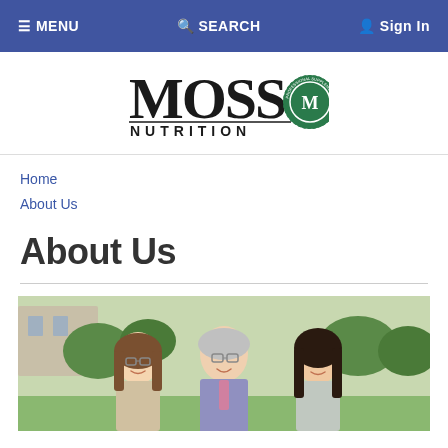≡ MENU   🔍 SEARCH   👤 Sign In
[Figure (logo): Moss Nutrition logo with green circular seal and large serif MOSS text above NUTRITION]
Home
About Us
About Us
[Figure (photo): Three people (two women and a man in the center) smiling outdoors with trees and a building in background]